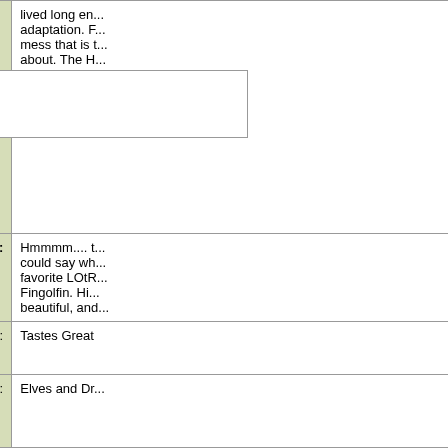| Field | Value |
| --- | --- |
|  | lived long en... adaptation. F... mess that is t... about. The H... Although - h... the role. |
| Favorite Tolkien character: | Hmmmm.... t... could say wh... favorite LOtR... Fingolfin. Hi... beautiful, and... |
| Less Filling or Tastes Great: | Tastes Great |
| Elves and Dragons or Cabbages and Potatoes: | Elves and Dr... |
| Email: | Junesong |
|  | Show user's posts |
Search all forums for
( options )
home | advertising | cont...
This site is maintained and updated by fans of The Lord of the Ring...